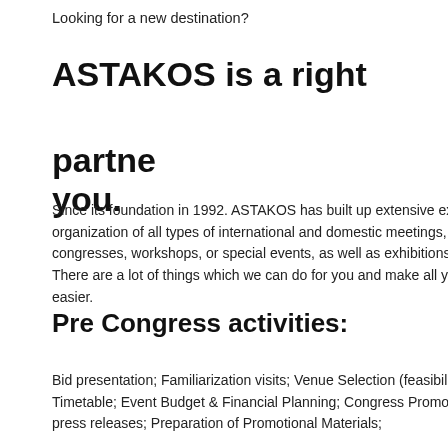Looking for a new destination?
ASTAKOS is a right partner for you.
Since its foundation in 1992. ASTAKOS has built up extensive experience in the organization of all types of international and domestic meetings, congresses, workshops, or special events, as well as exhibitions. There are a lot of things which we can do for you and make all your job easier.
Pre Congress activities:
Bid presentation; Familiarization visits; Venue Selection (feasibility); Timetable; Event Budget & Financial Planning; Congress Promotion; press releases; Preparation of Promotional Materials;